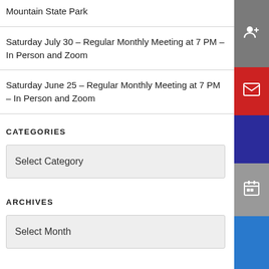Mountain State Park
Saturday July 30 – Regular Monthly Meeting at 7 PM – In Person and Zoom
Saturday June 25 – Regular Monthly Meeting at 7 PM – In Person and Zoom
CATEGORIES
Select Category
ARCHIVES
Select Month